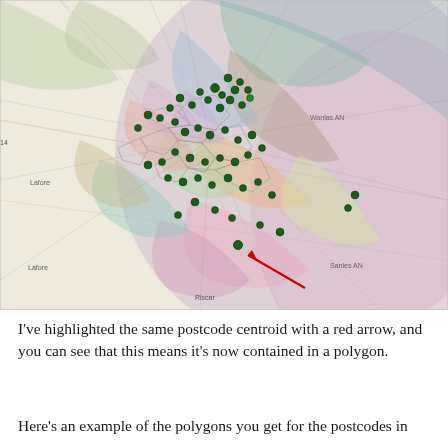[Figure (map): A map showing postcode polygons (Voronoi-style regions) overlaid on a geographic background. Multiple colored semi-transparent polygons and a large circle cover a town area. Green dots mark postcode centroids. A red arrow highlights one specific postcode centroid in the lower-center area, pointing to a pink polygon region.]
I've highlighted the same postcode centroid with a red arrow, and you can see that this means it's now contained in a polygon.
Here's an example of the polygons you get for the postcodes in